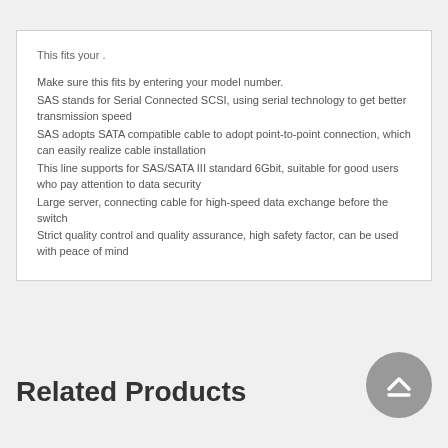This fits your .
Make sure this fits by entering your model number.
SAS stands for Serial Connected SCSI, using serial technology to get better transmission speed
SAS adopts SATA compatible cable to adopt point-to-point connection, which can easily realize cable installation
This line supports for SAS/SATA III standard 6Gbit, suitable for good users who pay attention to data security
Large server, connecting cable for high-speed data exchange before the switch
Strict quality control and quality assurance, high safety factor, can be used with peace of mind
Related Products